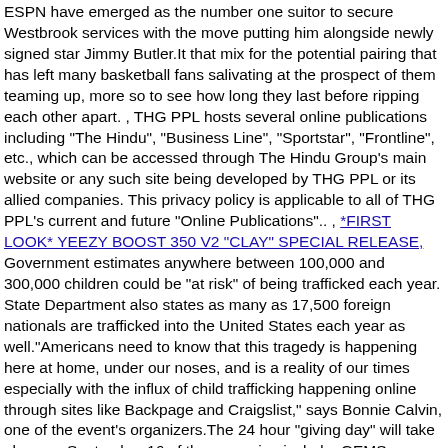ESPN have emerged as the number one suitor to secure Westbrook services with the move putting him alongside newly signed star Jimmy Butler.It that mix for the potential pairing that has left many basketball fans salivating at the prospect of them teaming up, more so to see how long they last before ripping each other apart. , THG PPL hosts several online publications including "The Hindu", "Business Line", "Sportstar", "Frontline", etc., which can be accessed through The Hindu Group's main website or any such site being developed by THG PPL or its allied companies. This privacy policy is applicable to all of THG PPL's current and future "Online Publications".. , *FIRST LOOK* YEEZY BOOST 350 V2 "CLAY" SPECIAL RELEASE, Government estimates anywhere between 100,000 and 300,000 children could be "at risk" of being trafficked each year. State Department also states as many as 17,500 foreign nationals are trafficked into the United States each year as well."Americans need to know that this tragedy is happening here at home, under our noses, and is a reality of our times especially with the influx of child trafficking happening online through sites like Backpage and Craigslist," says Bonnie Calvin, one of the event's organizers.The 24 hour "giving day" will take place on September 16.of the campaign include: GEMS, Humanity United, Polaris, The McCain Institute, and Youthlink."These organizations work day in and day out with victims and survivors of child trafficking," says Calvin.' with a more modern appearance Cheap Nike Air Force 270 Women,Cheap Nike Air Max 270 Gs Government estimates anywhere between 100,000 and 300,000 children could be "at risk" of being trafficked each year. State Department also